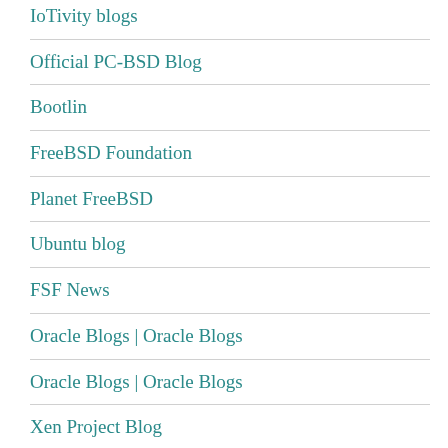IoTivity blogs
Official PC-BSD Blog
Bootlin
FreeBSD Foundation
Planet FreeBSD
Ubuntu blog
FSF News
Oracle Blogs | Oracle Blogs
Oracle Blogs | Oracle Blogs
Xen Project Blog
Red Hat Blog